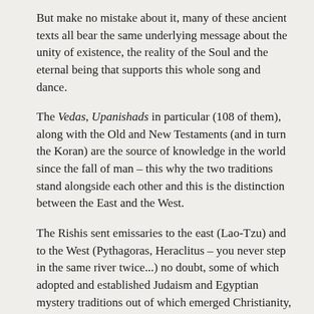But make no mistake about it, many of these ancient texts all bear the same underlying message about the unity of existence, the reality of the Soul and the eternal being that supports this whole song and dance.
The Vedas, Upanishads in particular (108 of them), along with the Old and New Testaments (and in turn the Koran) are the source of knowledge in the world since the fall of man – this why the two traditions stand alongside each other and this is the distinction between the East and the West.
The Rishis sent emissaries to the east (Lao-Tzu) and to the West (Pythagoras, Heraclitus – you never step in the same river twice...) no doubt, some of which adopted and established Judaism and Egyptian mystery traditions out of which emerged Christianity, Gnosticism, alchemy and ultimately Science. Sacred Geometry permeates them all.
To me the Rishis are the great source and river of knowledge, the highest and most exalted of the ancient scriptures in their